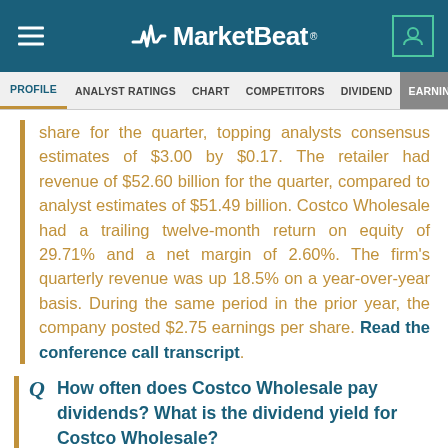MarketBeat
PROFILE  ANALYST RATINGS  CHART  COMPETITORS  DIVIDEND  EARNINGS
share for the quarter, topping analysts consensus estimates of $3.00 by $0.17. The retailer had revenue of $52.60 billion for the quarter, compared to analyst estimates of $51.49 billion. Costco Wholesale had a trailing twelve-month return on equity of 29.71% and a net margin of 2.60%. The firm's quarterly revenue was up 18.5% on a year-over-year basis. During the same period in the prior year, the company posted $2.75 earnings per share. Read the conference call transcript.
How often does Costco Wholesale pay dividends? What is the dividend yield for Costco Wholesale?